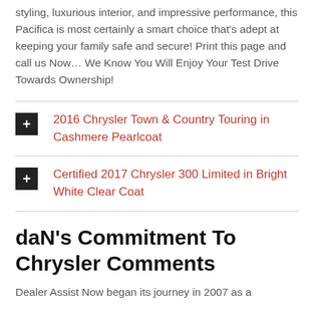styling, luxurious interior, and impressive performance, this Pacifica is most certainly a smart choice that's adept at keeping your family safe and secure! Print this page and call us Now… We Know You Will Enjoy Your Test Drive Towards Ownership!
2016 Chrysler Town & Country Touring in Cashmere Pearlcoat
Certified 2017 Chrysler 300 Limited in Bright White Clear Coat
daN's Commitment To Chrysler Comments
Dealer Assist Now began its journey in 2007 as a